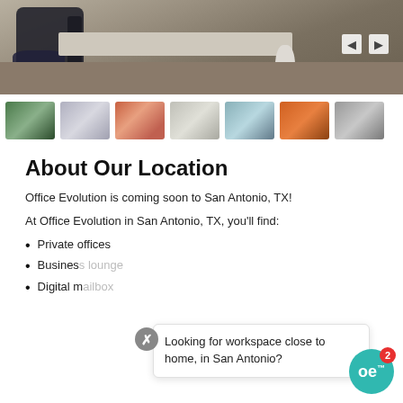[Figure (photo): Main office photo showing a desk and chair with arrows for navigation]
[Figure (photo): Row of 7 thumbnail images of office spaces]
About Our Location
Office Evolution is coming soon to San Antonio, TX!
At Office Evolution in San Antonio, TX, you'll find:
Private offices
Business lounge
Digital mailbox
Looking for workspace close to home, in San Antonio?